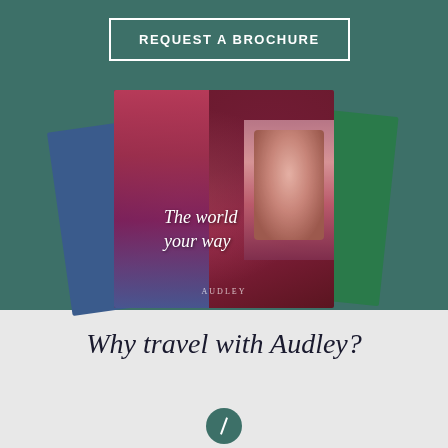REQUEST A BROCHURE
[Figure (photo): Stack of Audley Travel brochures fanned out on teal/green background, main cover reads 'The world your way']
Why travel with Audley?
[Figure (illustration): Teal circular icon with slash/check mark symbol]